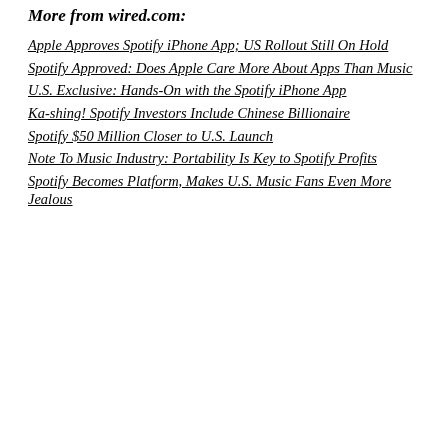More from wired.com:
Apple Approves Spotify iPhone App; US Rollout Still On Hold
Spotify Approved: Does Apple Care More About Apps Than Music
U.S. Exclusive: Hands-On with the Spotify iPhone App
Ka-shing! Spotify Investors Include Chinese Billionaire
Spotify $50 Million Closer to U.S. Launch
Note To Music Industry: Portability Is Key to Spotify Profits
Spotify Becomes Platform, Makes U.S. Music Fans Even More Jealous